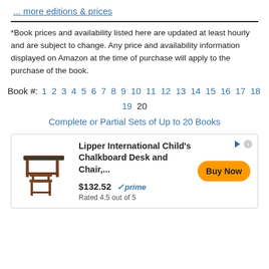... more editions & prices
*Book prices and availability listed here are updated at least hourly and are subject to change. Any price and availability information displayed on Amazon at the time of purchase will apply to the purchase of the book.
Book #: 1 2 3 4 5 6 7 8 9 10 11 12 13 14 15 16 17 18 19 20
Complete or Partial Sets of Up to 20 Books
[Figure (other): Advertisement for Lipper International Child's Chalkboard Desk and Chair, priced at $132.52, Rated 4.5 out of 5, with a Buy Now button]